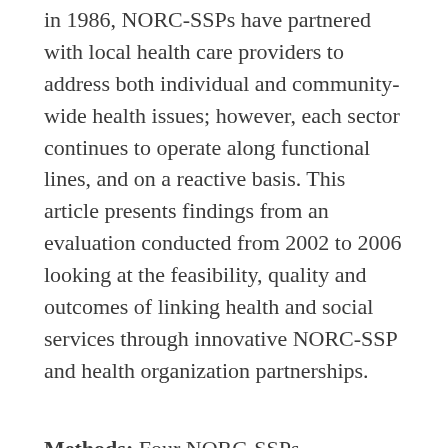in 1986, NORC-SSPs have partnered with local health care providers to address both individual and community-wide health issues; however, each sector continues to operate along functional lines, and on a reactive basis. This article presents findings from an evaluation conducted from 2002 to 2006 looking at the feasibility, quality and outcomes of linking health and social services through innovative NORC-SSP and health organization partnerships.
Methods: Four NORC-SSPs participated in the study by finding a health care provider to collaborate on addressing health conditions that could benefit from a biopsychosocial approach. Each site focused on a